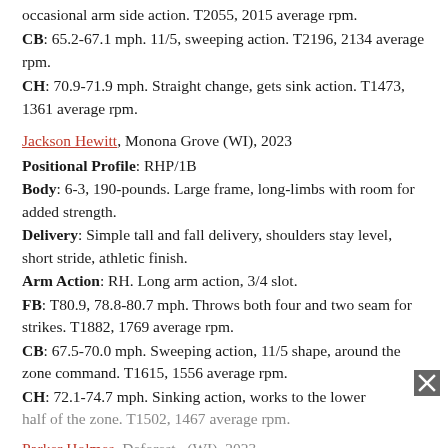occasional arm side action. T2055, 2015 average rpm.
CB: 65.2-67.1 mph. 11/5, sweeping action. T2196, 2134 average rpm.
CH: 70.9-71.9 mph. Straight change, gets sink action. T1473, 1361 average rpm.
Jackson Hewitt, Monona Grove (WI), 2023
Positional Profile: RHP/1B
Body: 6-3, 190-pounds. Large frame, long-limbs with room for added strength.
Delivery: Simple tall and fall delivery, shoulders stay level, short stride, athletic finish.
Arm Action: RH. Long arm action, 3/4 slot.
FB: T80.9, 78.8-80.7 mph. Throws both four and two seam for strikes. T1882, 1769 average rpm.
CB: 67.5-70.0 mph. Sweeping action, 11/5 shape, around the zone command. T1615, 1556 average rpm.
CH: 72.1-74.7 mph. Sinking action, works to the lower half of the zone. T1502, 1467 average rpm.
Parker Holmes, Deforest (WI), 2023